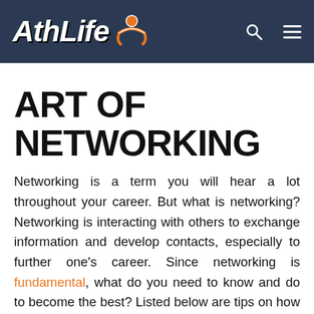AthLife
ART OF NETWORKING
Networking is a term you will hear a lot throughout your career. But what is networking? Networking is interacting with others to exchange information and develop contacts, especially to further one's career. Since networking is fundamental, what do you need to know and do to become the best? Listed below are tips on how to master the art